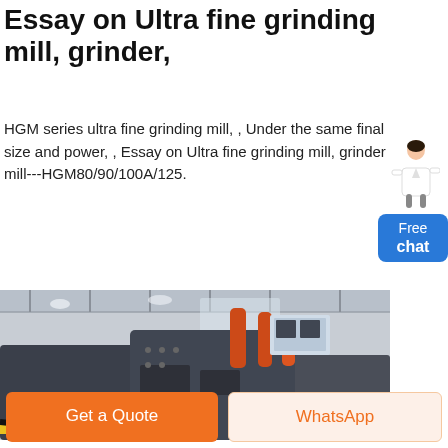Essay on Ultra fine grinding mill, grinder,
HGM series ultra fine grinding mill, , Under the same final size and power, , Essay on Ultra fine grinding mill, grinder mill---HGM80/90/100A/125.
More
[Figure (photo): Industrial grinding/crushing machine equipment displayed in a large factory hall with high ceilings and industrial trusses. Heavy machinery with orange accents visible.]
Get a Quote
WhatsApp